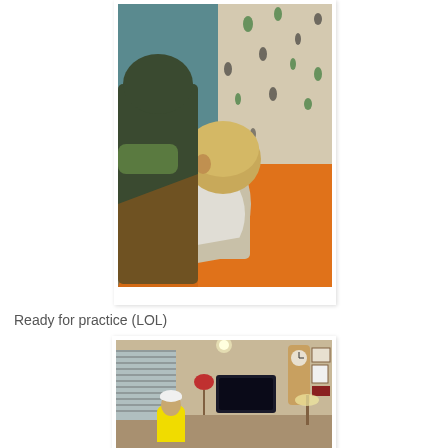[Figure (photo): A young child with blonde hair lying on a bed with an orange blanket, wearing a white outfit, on patterned bedding with green and black leaf/paw prints.]
Ready for practice (LOL)
[Figure (photo): Interior living room scene with a person wearing a white cap and yellow shirt standing near a TV, lamp with red shade, clock on the wall, and framed photos.]